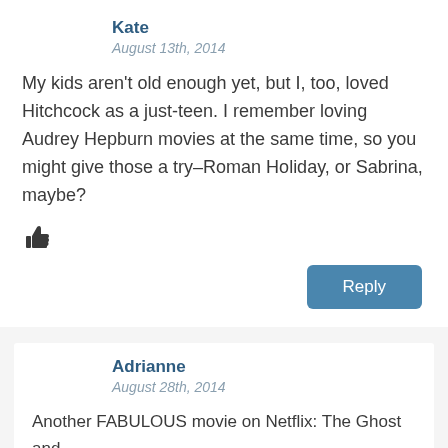Kate
August 13th, 2014
My kids aren't old enough yet, but I, too, loved Hitchcock as a just-teen. I remember loving Audrey Hepburn movies at the same time, so you might give those a try–Roman Holiday, or Sabrina, maybe?
[Figure (illustration): Thumbs up icon]
Reply
Adrianne
August 28th, 2014
Another FABULOUS movie on Netflix: The Ghost and Mrs Muir (I watched it with my four kids last...